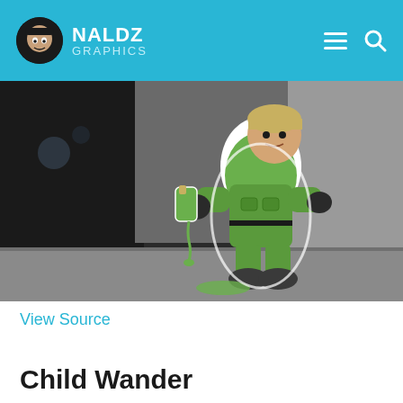NALDZ GRAPHICS
[Figure (photo): A cartoon chibi-style character dressed in green military gear, holding a green spray bottle dripping green liquid, placed as a paper cutout on a real surface near a wall. The background is dark and blurry, showing an urban setting at night.]
View Source
Child Wander